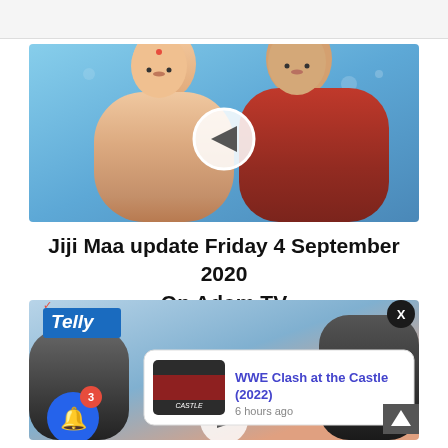[Figure (photo): Main image showing a woman in a saree and a man in a red shirt, with a play button overlay, on a blue gradient background]
Jiji Maa update Friday 4 September 2020 On Adom TV
[Figure (screenshot): Second article image with Telly logo, dark figures, a forward play button, a close (X) button, a notification popup showing 'WWE Clash at the Castle (2022)' with '6 hours ago', a blue bell notification button with badge '3', and a scroll-to-top button]